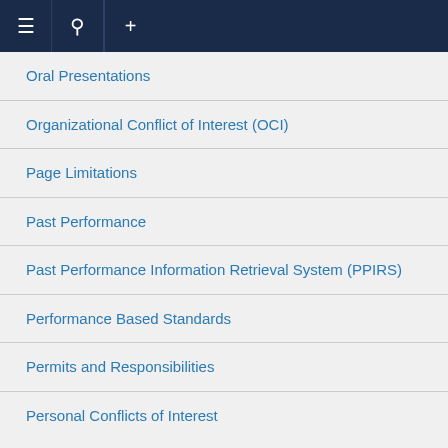Navigation bar with menu, search, and add icons
Oral Presentations
Organizational Conflict of Interest (OCI)
Page Limitations
Past Performance
Past Performance Information Retrieval System (PPIRS)
Performance Based Standards
Permits and Responsibilities
Personal Conflicts of Interest